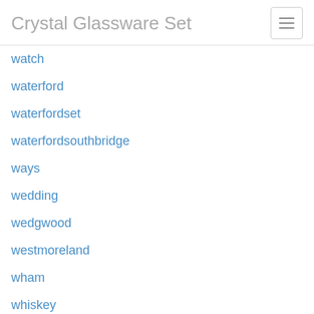Crystal Glassware Set
watch
waterford
waterfordset
waterfordsouthbridge
ways
wedding
wedgwood
westmoreland
wham
whiskey
whitehall
william